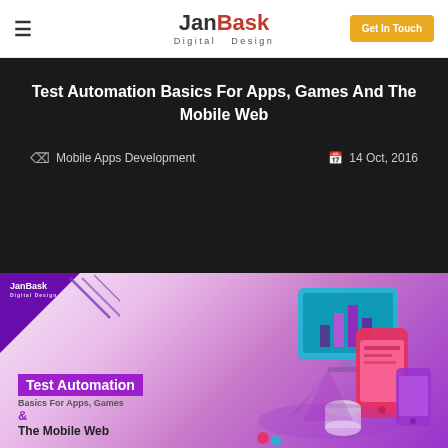JanBask Digital Design — Get In Touch
Test Automation Basics For Apps, Games And The Mobile Web
Mobile Apps Development   14 Oct, 2016
[Figure (illustration): JanBask Digital Design branded article banner for Test Automation Basics For Apps, Games & The Mobile Web, featuring purple gradient background with isometric mobile/tablet device illustration on the right]